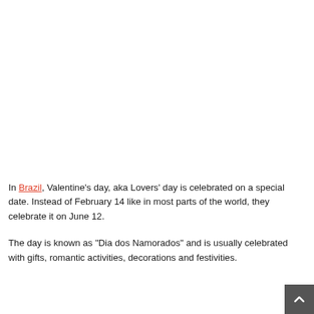In Brazil, Valentine's day, aka Lovers' day is celebrated on a special date. Instead of February 14 like in most parts of the world, they celebrate it on June 12.
The day is known as "Dia dos Namorados" and is usually celebrated with gifts, romantic activities, decorations and festivities.